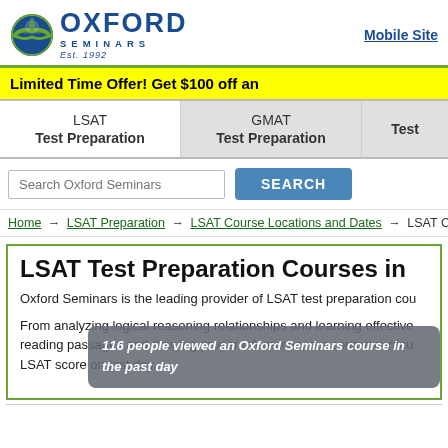[Figure (logo): Oxford Seminars logo with globe icon, Est. 1992]
Mobile Site
Limited Time Offer! Get $100 off an
LSAT
Test Preparation
GMAT
Test Preparation
Test
Search Oxford Seminars
SEARCH
Home → LSAT Preparation → LSAT Course Locations and Dates → LSAT Courses
LSAT Test Preparation Courses in
Oxford Seminars is the leading provider of LSAT test preparation cou
From analyzing logical reasoning relationships and learning effective reading passages and drawing proper inferences, our course curricu LSAT score on test day.
116 people viewed an Oxford Seminars course in the past day